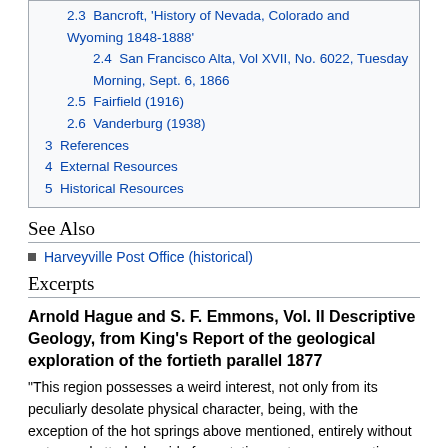2.3 Bancroft, 'History of Nevada, Colorado and Wyoming 1848-1888'
2.4 San Francisco Alta, Vol XVII, No. 6022, Tuesday Morning, Sept. 6, 1866
2.5 Fairfield (1916)
2.6 Vanderburg (1938)
3 References
4 External Resources
5 Historical Resources
See Also
Harveyville Post Office (historical)
Excerpts
Arnold Hague and S. F. Emmons, Vol. II Descriptive Geology, from King's Report of the geological exploration of the fortieth parallel 1877
"This region possesses a weird interest, not only from its peculiarly desolate physical character, being, with the exception of the hot springs above mentioned, entirely without water, and utterly devoid of vegetation, not even supporting a growth of the almost ubiquitous sage-brush (Artemisia tridentata), but also from the large development of the more unusual accompaniments of volcanic rocks: concretions and geodes of